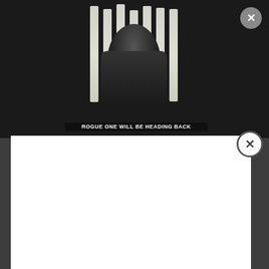[Figure (screenshot): A screenshot of a webpage showing a video thumbnail. The thumbnail shows a scene from Rogue One with a person in dark setting with bright light bars behind them. A caption at the bottom of the thumbnail reads 'ROGUE ONE WILL BE HEADING BACK'. There is a gray circular close button (X) in the top right area, and a white modal popup overlapping the middle portion of the page with its own close button (X circle with border) in the upper right of the modal.]
that ever, audiences are finding themselves rooting for and supporting the bad guys, the villains, and the antagonists. But what is it that so attracts us to the dark side? (Darth Vader would be so proud).